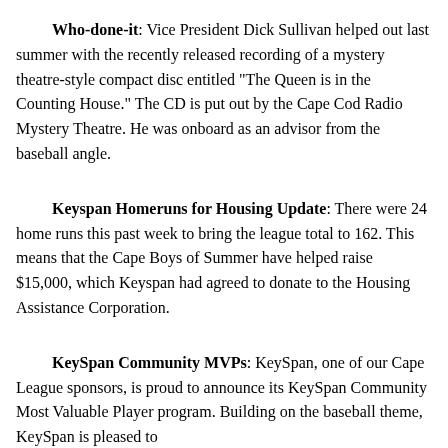Who-done-it: Vice President Dick Sullivan helped out last summer with the recently released recording of a mystery theatre-style compact disc entitled "The Queen is in the Counting House." The CD is put out by the Cape Cod Radio Mystery Theatre. He was onboard as an advisor from the baseball angle.
Keyspan Homeruns for Housing Update: There were 24 home runs this past week to bring the league total to 162. This means that the Cape Boys of Summer have helped raise $15,000, which Keyspan had agreed to donate to the Housing Assistance Corporation.
KeySpan Community MVPs: KeySpan, one of our Cape League sponsors, is proud to announce its KeySpan Community Most Valuable Player program. Building on the baseball theme, KeySpan is pleased to